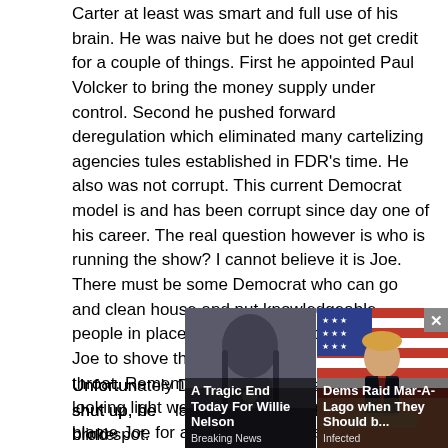Carter at least was smart and full use of his brain. He was naive but he does not get credit for a couple of things. First he appointed Paul Volcker to bring the money supply under control. Second he pushed forward deregulation which eliminated many cartelizing agencies tules established in FDR's time. He also was not corrupt. This current Democrat model is and has been corrupt since day one of his career. The real question however is who is running the show? I cannot believe it is Joe. There must be some Democrat who can go and clean house and put knowledgeable people in place. I think Obama folks are using Joe to shove their agenda down the countries throat. Remember Barack is a fluent good looking light weight as we're his people. He can blame Joe for all of this. He already set it with the comment about Joe being able to screw things up. The party has no elders of substance. That is the problem and that is why we are where we are.
Unfortunately Donald J Trump needs to learn to shut up, he... laws broke... other day. H... s blind spot.
[Figure (photo): Ad overlay with two clickbait news thumbnails. Left: 'A Tragic End Today For Willie Nelson - Breaking News'. Right: 'Dems Raid Mar-A-Lago when They Should b... - Infected'. A close button (x) appears at top right of the overlay.]